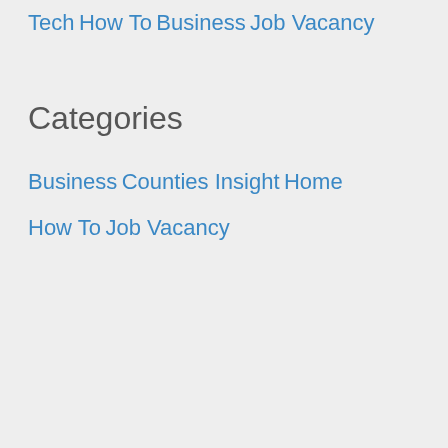Tech
How To
Business
Job Vacancy
Categories
Business
Counties Insight
Home
How To
Job Vacancy